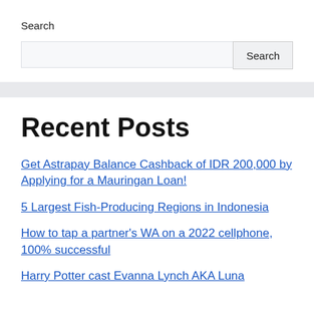Search
[Search input field] [Search button]
Recent Posts
Get Astrapay Balance Cashback of IDR 200,000 by Applying for a Mauringan Loan!
5 Largest Fish-Producing Regions in Indonesia
How to tap a partner's WA on a 2022 cellphone, 100% successful
Harry Potter cast Evanna Lynch AKA Luna